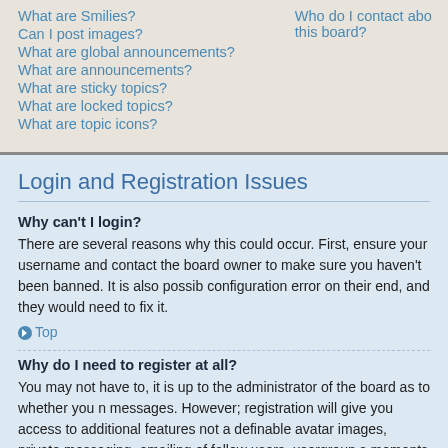What are Smilies?
Can I post images?
What are global announcements?
What are announcements?
What are sticky topics?
What are locked topics?
What are topic icons?
Who do I contact about this board?
Login and Registration Issues
Why can't I login?
There are several reasons why this could occur. First, ensure your username and contact the board owner to make sure you haven't been banned. It is also possible configuration error on their end, and they would need to fix it.
Top
Why do I need to register at all?
You may not have to, it is up to the administrator of the board as to whether you need messages. However; registration will give you access to additional features not available definable avatar images, private messaging, emailing of fellow users, usergroup moments to register so it is recommended you do so.
Top
Why do I get logged off automatically?
If you do not check the Log me in automatically box when you login, the board wi